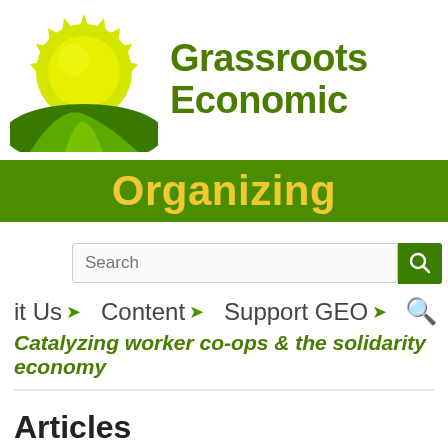[Figure (logo): Grassroots Economic Organizing logo: sun rising over a green path/road, yellow and green tones]
Grassroots Economic Organizing
Catalyzing worker co-ops & the solidarity economy
Search
it Us   Content   Support GEO
Catalyzing worker co-ops & the solidarity economy
Articles
[Figure (photo): Partial bottom photo strip showing what appears to be an interior scene]